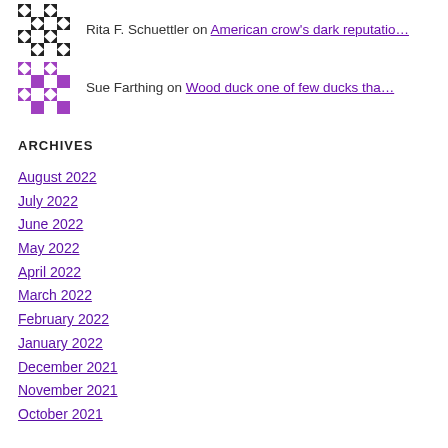[Figure (illustration): Black and white checkered avatar for Rita F. Schuettler]
Rita F. Schuettler on American crow's dark reputatio…
[Figure (illustration): Purple and white checkered avatar for Sue Farthing]
Sue Farthing on Wood duck one of few ducks tha…
ARCHIVES
August 2022
July 2022
June 2022
May 2022
April 2022
March 2022
February 2022
January 2022
December 2021
November 2021
October 2021